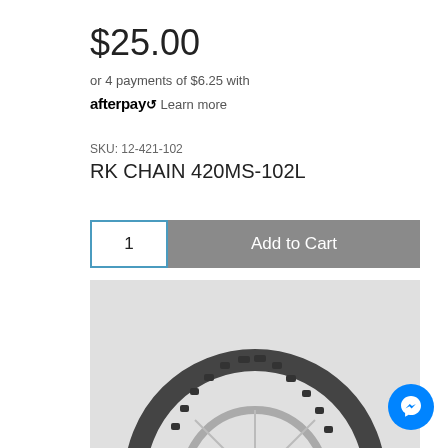$25.00
or 4 payments of $6.25 with afterpay Learn more
SKU: 12-421-102
RK CHAIN 420MS-102L
1  Add to Cart
[Figure (photo): Black and white photo of a motorcycle dirt bike tire with knobby tread pattern and spoked wheel, shown on a light grey background]